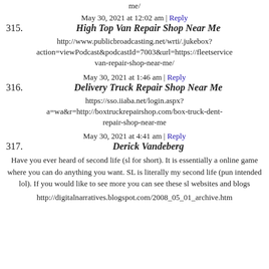me/
May 30, 2021 at 12:02 am | Reply
315. High Top Van Repair Shop Near Me
http://www.publicbroadcasting.net/wrti/.jukebox?action=viewPodcast&podcastId=7003&url=https://fleetservice van-repair-shop-near-me/
May 30, 2021 at 1:46 am | Reply
316. Delivery Truck Repair Shop Near Me
https://sso.iiaba.net/login.aspx?a=wa&r=http://boxtruckrepairshop.com/box-truck-dent-repair-shop-near-me
May 30, 2021 at 4:41 am | Reply
317. Derick Vandeberg
Have you ever heard of second life (sl for short). It is essentially a online game where you can do anything you want. SL is literally my second life (pun intended lol). If you would like to see more you can see these sl websites and blogs
http://digitalnarratives.blogspot.com/2008_05_01_archive.htm